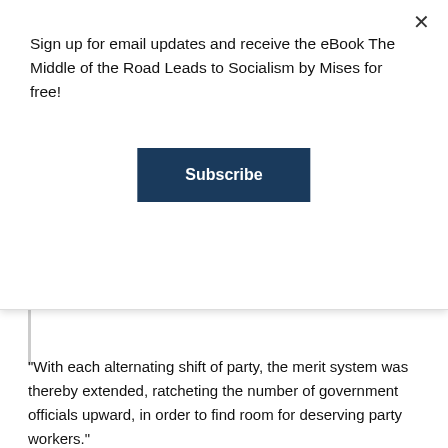Sign up for email updates and receive the eBook The Middle of the Road Leads to Socialism by Mises for free!
Subscribe
"With each alternating shift of party, the merit system was thereby extended, ratcheting the number of government officials upward, in order to find room for deserving party workers."
The reform movement was indeed languishing. Partly this decline was the result of the Pendleton Act victory; but partly, too, because the reformers were getting increasingly obsolete and losing political influence. Membership in the associations declined; the Brooklyn association, for example, lost over half of its members from 1882 to 1890, with the biggest fall off among the former members of the association, the professional and the